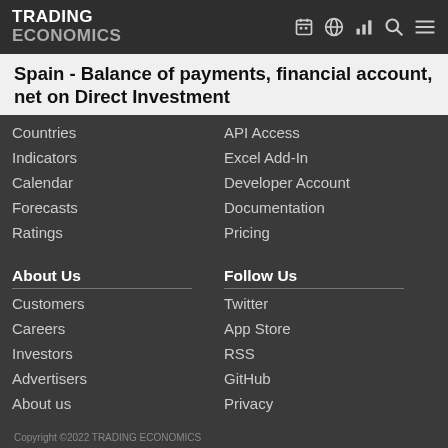TRADING ECONOMICS
Spain - Balance of payments, financial account, net on Direct Investment
Countries
Indicators
Calendar
Forecasts
Ratings
API Access
Excel Add-In
Developer Account
Documentation
Pricing
About Us
Follow Us
Customers
Careers
Investors
Advertisers
About us
Twitter
App Store
RSS
GitHub
Privacy
Copyright ©2022 TRADING ECONOMICS
All Rights Reserved